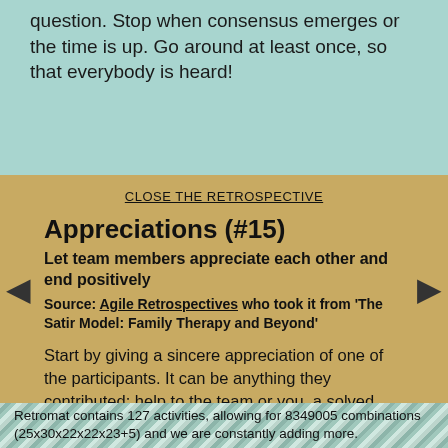question. Stop when consensus emerges or the time is up. Go around at least once, so that everybody is heard!
CLOSE THE RETROSPECTIVE
Appreciations (#15)
Let team members appreciate each other and end positively
Source: Agile Retrospectives who took it from 'The Satir Model: Family Therapy and Beyond'
Start by giving a sincere appreciation of one of the participants. It can be anything they contributed: help to the team or you, a solved problem, ...Then invite others and wait for someone to work up the nerve. Close, when no one has talked for a minute.
Retromat contains 127 activities, allowing for 8349005 combinations (25x30x22x22x23+5) and we are constantly adding more.